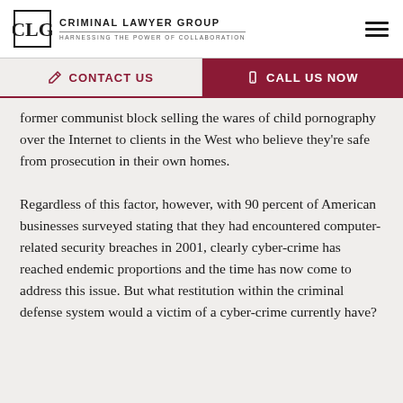CRIMINAL LAWYER GROUP — HARNESSING THE POWER OF COLLABORATION
CONTACT US  |  CALL US NOW
former communist block selling the wares of child pornography over the Internet to clients in the West who believe they're safe from prosecution in their own homes.
Regardless of this factor, however, with 90 percent of American businesses surveyed stating that they had encountered computer-related security breaches in 2001, clearly cyber-crime has reached endemic proportions and the time has now come to address this issue. But what restitution within the criminal defense system would a victim of a cyber-crime currently have?